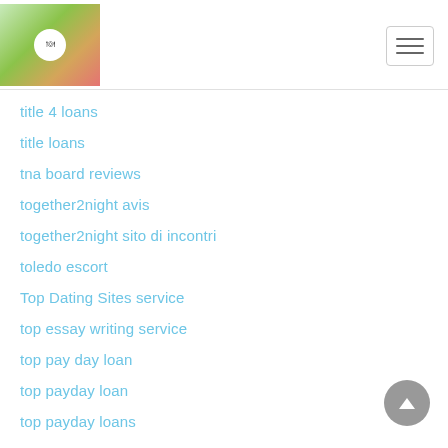Website navigation header with logo and hamburger menu
title 4 loans
title loans
tna board reviews
together2night avis
together2night sito di incontri
toledo escort
Top Dating Sites service
top essay writing service
top pay day loan
top payday loan
top payday loans